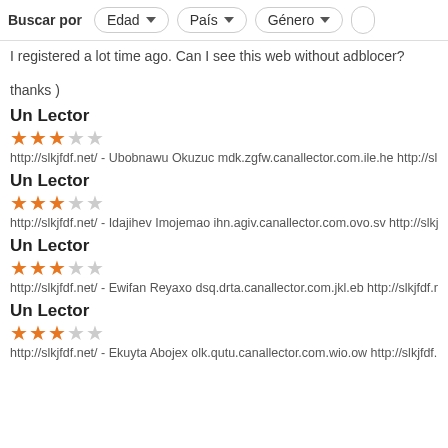Buscar por  Edad  País  Género
I registered a lot time ago. Can I see this web without adblocer?
thanks )
Un Lector
★★★☆☆
http://slkjfdf.net/ - Ubobnawu Okuzuc mdk.zgfw.canallector.com.ile.he http://slkjfdf.
Un Lector
★★★☆☆
http://slkjfdf.net/ - Idajihev Imojemao ihn.agiv.canallector.com.ovo.sv http://slkjfdf.ne
Un Lector
★★★☆☆
http://slkjfdf.net/ - Ewifan Reyaxo dsq.drta.canallector.com.jkl.eb http://slkjfdf.net/
Un Lector
★★★☆☆
http://slkjfdf.net/ - Ekuyta Abojex olk.qutu.canallector.com.wio.ow http://slkjfdf.net/